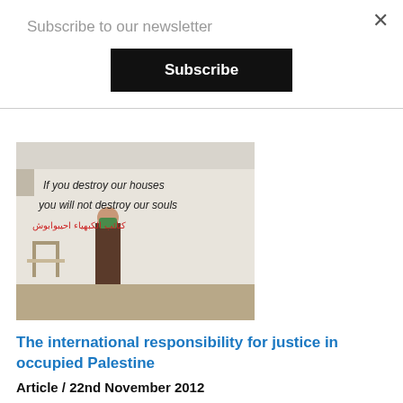Subscribe to our newsletter
Subscribe
[Figure (photo): A child wearing a green face mask stands in front of a wall with graffiti reading 'If you destroy our houses you will not destroy our souls' in English and Arabic text in red below.]
The international responsibility for justice in occupied Palestine
Article / 22nd November 2012
There can be no talk of peace in the Middle East so long as Israel is given political immunity, financial assistance and diplomatic support by other Western states. It is high time that the international community assumed responsibility for